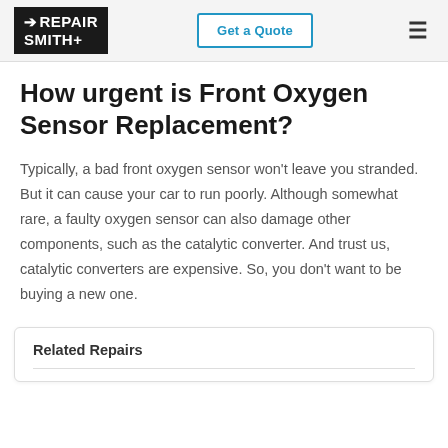RepairSmith | Get a Quote
How urgent is Front Oxygen Sensor Replacement?
Typically, a bad front oxygen sensor won't leave you stranded. But it can cause your car to run poorly. Although somewhat rare, a faulty oxygen sensor can also damage other components, such as the catalytic converter. And trust us, catalytic converters are expensive. So, you don't want to be buying a new one.
Related Repairs